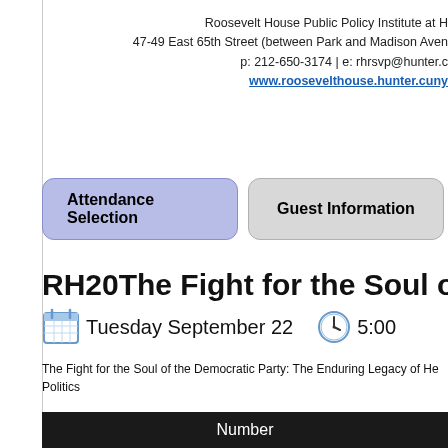Roosevelt House Public Policy Institute at H
47-49 East 65th Street (between Park and Madison Aven
p: 212-650-3174 | e: rhrsvp@hunter.c
www.roosevelthouse.hunter.cuny
Attendance Selection
Guest Information
RH20The Fight for the Soul of th
Tuesday September 22
5:00
The Fight for the Soul of the Democratic Party: The Enduring Legacy of He Politics
| Number |
| --- |